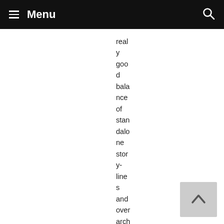Menu
really good balance of standalone story-lines and overarching story-lines